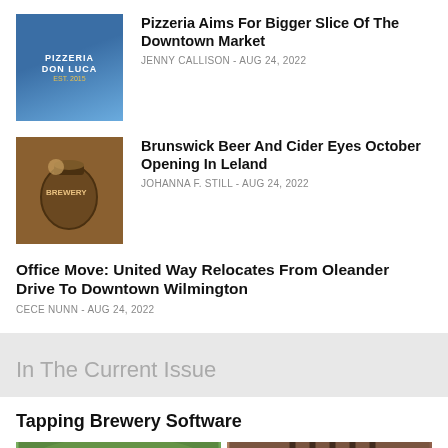Pizzeria Aims For Bigger Slice Of The Downtown Market — JENNY CALLISON - AUG 24, 2022
Brunswick Beer And Cider Eyes October Opening In Leland — JOHANNA F. STILL - AUG 24, 2022
Office Move: United Way Relocates From Oleander Drive To Downtown Wilmington — CECE NUNN - AUG 24, 2022
In The Current Issue
Tapping Brewery Software
[Figure (photo): Group photo of people outdoors under trees (left) and a person outside a brick building (right)]